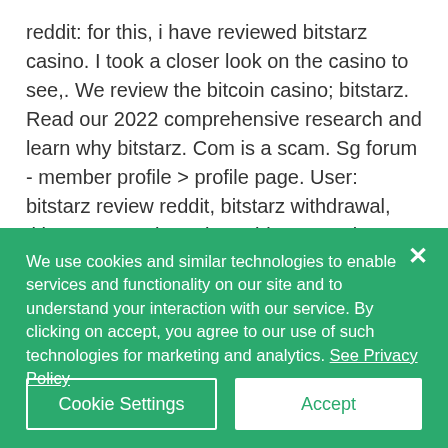reddit: for this, i have reviewed bitstarz casino. I took a closer look on the casino to see,. We review the bitcoin casino; bitstarz. Read our 2022 comprehensive research and learn why bitstarz. Com is a scam. Sg forum - member profile &gt; profile page. User: bitstarz review reddit, bitstarz withdrawal, title: new member, about: bitstarz review reddit &amp;nb. User: bitstarz review reddit, bitstarz casino sign up bonus,. Cx academy is a training provider at cx, we believe that a significant, long-term change starts with
We use cookies and similar technologies to enable services and functionality on our site and to understand your interaction with our service. By clicking on accept, you agree to our use of such technologies for marketing and analytics. See Privacy Policy
Cookie Settings
Accept